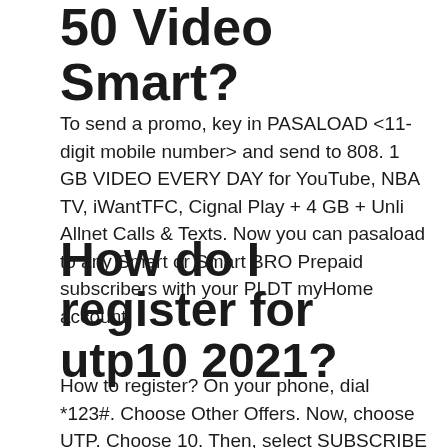50 Video Smart?
To send a promo, key in PASALOAD <11-digit mobile number> and send to 808. 1 GB VIDEO EVERY DAY for YouTube, NBA TV, iWantTFC, Cignal Play + 4 GB + Unli Allnet Calls & Texts. Now you can pasaload to any Smart or Smart BRO Prepaid subscribers with your PLDT myHome account!
How do I register for utp10 2021?
How to register? On your phone, dial *123#. Choose Other Offers. Now, choose UTP. Choose 10. Then, select SUBSCRIBE to confirm registration.